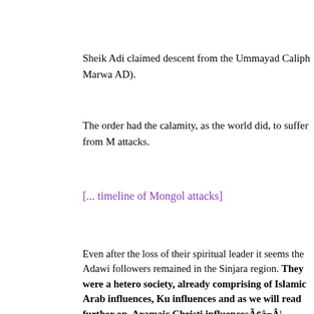Sheik Adi claimed descent from the Ummayad Caliph Marwa AD).
The order had the calamity, as the world did, to suffer from M attacks.
[... timeline of Mongol attacks]
Even after the loss of their spiritual leader it seems the Adawi followers remained in the Sinjara region. They were a hetero society, already comprising of Islamic Arab influences, Ku influences and as we will read further on, Aramaic Christi influencesÃ¢â¬Â¦
There are five castes in their society; Pir (clergy), Sheikh, Kav Murabi, and Murid (layity).